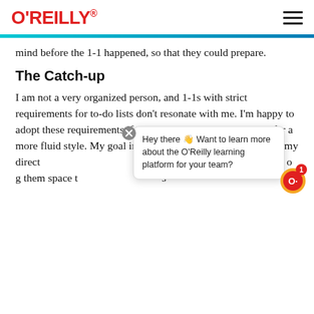O'REILLY
mind before the 1-1 happened, so that they could prepare.
The Catch-up
I am not a very organized person, and 1-1s with strict requirements for to-do lists don't resonate with me. I'm happy to adopt these requirements if my reports want them, but I prefer a more fluid style. My goal in a 1-1 is first to listen to anything my direct reports want to bring to the meeting to bring up, and then to go give them space to...